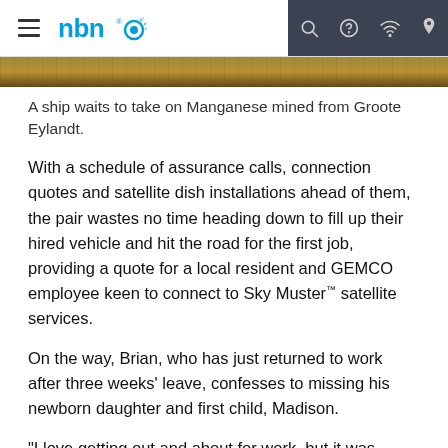nbn navigation bar with hamburger menu, nbn logo, search, help, wifi, and location icons
[Figure (photo): Partial image strip showing a landscape scene, likely a mining or coastal area at Groote Eylandt]
A ship waits to take on Manganese mined from Groote Eylandt.
With a schedule of assurance calls, connection quotes and satellite dish installations ahead of them, the pair wastes no time heading down to fill up their hired vehicle and hit the road for the first job, providing a quote for a local resident and GEMCO employee keen to connect to Sky Muster™ satellite services.
On the way, Brian, who has just returned to work after three weeks' leave, confesses to missing his newborn daughter and first child, Madison.
"I love getting out and about for work, but it was tough